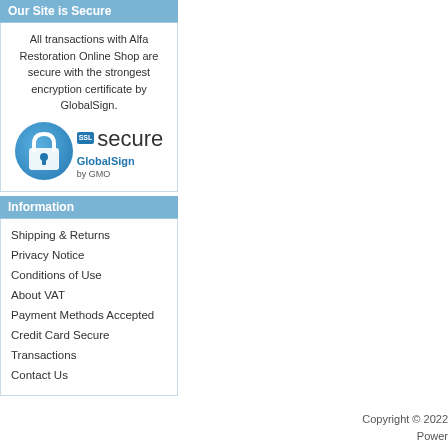Our Site is Secure
All transactions with Alfa Restoration Online Shop are secure with the strongest encryption certificate by GlobalSign.
[Figure (logo): SSL Secure GlobalSign by GMO badge with padlock icon]
Information
Shipping & Returns
Privacy Notice
Conditions of Use
About VAT
Payment Methods Accepted
Credit Card Secure
Transactions
Contact Us
Copyright © 2022
Power